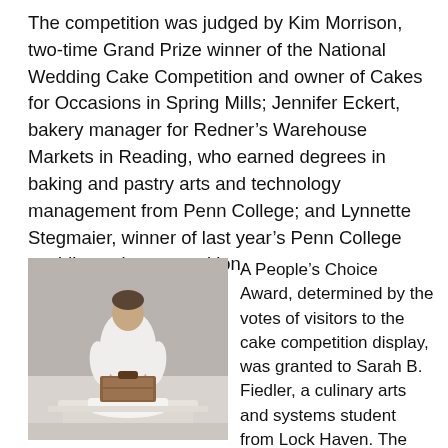The competition was judged by Kim Morrison, two-time Grand Prize winner of the National Wedding Cake Competition and owner of Cakes for Occasions in Spring Mills; Jennifer Eckert, bakery manager for Redner's Warehouse Markets in Reading, who earned degrees in baking and pastry arts and technology management from Penn College; and Lynnette Stegmaier, winner of last year's Penn College wedding cake competition.
[Figure (photo): A person in a white chef's coat standing behind a wedding cake display on a table, in an indoor event setting with gray walls.]
A People's Choice Award, determined by the votes of visitors to the cake competition display, was granted to Sarah B. Fiedler, a culinary arts and systems student from Lock Haven. The song behind Fiedler's design was “So This is Love” from Disney's 1950